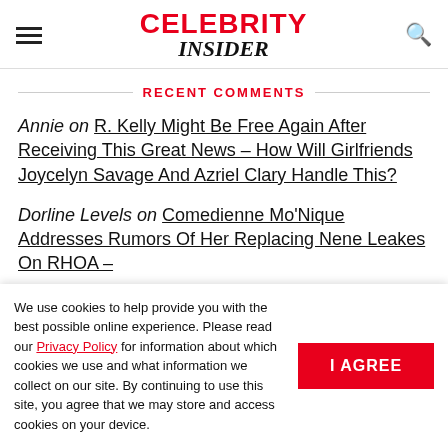Celebrity Insider
RECENT COMMENTS
Annie on R. Kelly Might Be Free Again After Receiving This Great News – How Will Girlfriends Joycelyn Savage And Azriel Clary Handle This?
Dorline Levels on Comedienne Mo'Nique Addresses Rumors Of Her Replacing Nene Leakes On RHOA –
We use cookies to help provide you with the best possible online experience. Please read our Privacy Policy for information about which cookies we use and what information we collect on our site. By continuing to use this site, you agree that we may store and access cookies on your device.